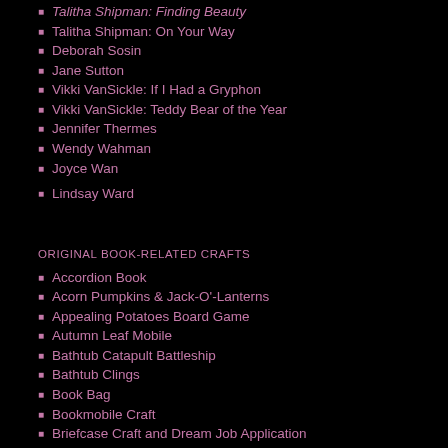Talitha Shipman: On Your Way
Deborah Sosin
Jane Sutton
Vikki VanSickle: If I Had a Gryphon
Vikki VanSickle: Teddy Bear of the Year
Jennifer Thermes
Wendy Wahman
Joyce Wan
Lindsay Ward
ORIGINAL BOOK-RELATED CRAFTS
Accordion Book
Acorn Pumpkins & Jack-O'-Lanterns
Appealing Potatoes Board Game
Autumn Leaf Mobile
Bathtub Catapult Battleship
Bathtub Clings
Book Bag
Bookmobile Craft
Briefcase Craft and Dream Job Application
Bunny Candy or Organization Jar
Campfire Craft